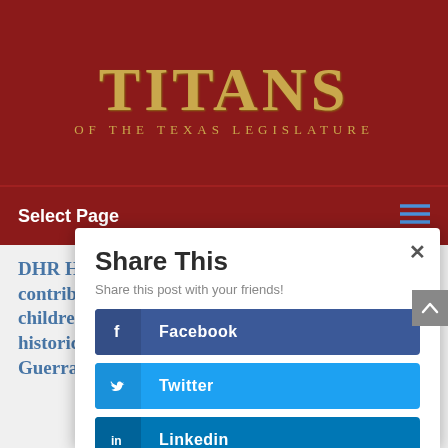[Figure (logo): Titans of the Texas Legislature logo with gold serif text on dark red background]
Select Page
Share This
Share this post with your friends!
DHR Health's Sohail Rao, MD, honored for contributing "significantly to the well-being of children and Rio Grande Valley residents during a historic health crisis," says Rep. R.D. "Bobby" Guerra.
Facebook
Twitter
Linkedin
Gmail